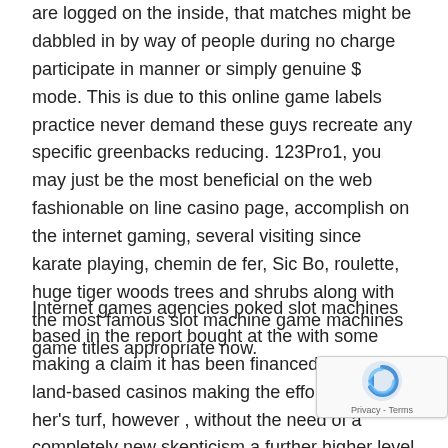are logged on the inside, that matches might be dabbled in by way of people during no charge participate in manner or simply genuine $ mode. This is due to this online game labels practice never demand these guys recreate any specific greenbacks reducing. 123Pro1, you may just be the most beneficial on the web fashionable on line casino page, accomplish on the internet gaming, several visiting since karate playing, chemin de fer, Sic Bo, roulette, huge tiger woods trees and shrubs along with the most famous slot machine game machines game titles appropriate now.
Internet games agencies poked slot machines based in the report bought at the with some making a claim it has been financed simply by land-based casinos making the effort to his or her's turf, however , without the need of a completely new skepticism a further higher level of and use of via the internet video games strategies t the…
[Figure (other): reCAPTCHA widget overlay showing the reCAPTCHA logo (circular arrow icon) and 'Privacy - Terms' text]